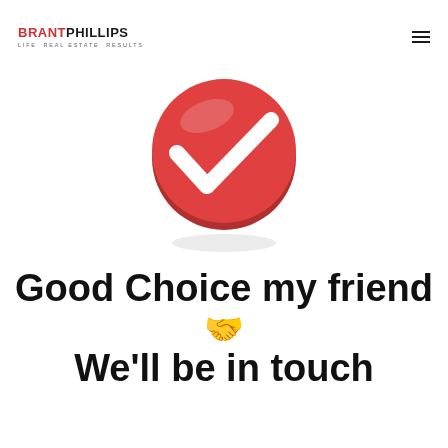BRANTPHILLIPS LIFE REAL ESTATE RESULTS
[Figure (illustration): Red circle with white checkmark icon]
Good Choice my friend 🤝 We'll be in touch